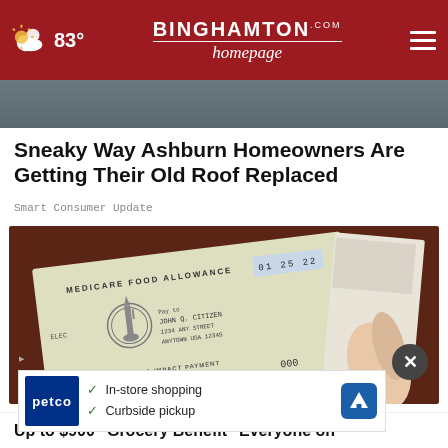83° | BINGHAMTON homepage.com
[Figure (photo): A person holding a Medicare Food Allowance check / Economic Impact Payment check with Statue of Liberty engraving, dated 01 25 22, payable to John Q. Citizen, 1234 Any Street, Anytown USA 12345]
Sneaky Way Ashburn Homeowners Are Getting Their Old Roof Replaced
Smart Consumer Update
[Figure (photo): Medicare Food Allowance check photo showing Statue of Liberty and payee information]
[Figure (infographic): Petco advertisement banner: In-store shopping, Curbside pickup]
Up to $900 "Grocery Benefit" Everyone on